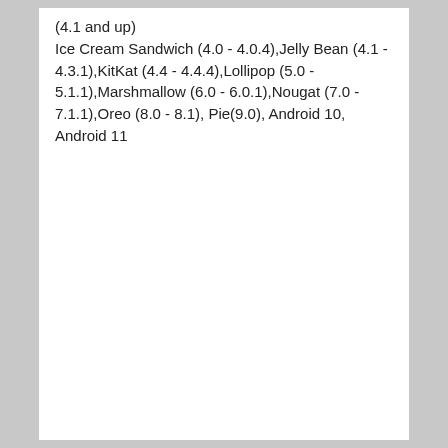(4.1 and up)
Ice Cream Sandwich (4.0 - 4.0.4),Jelly Bean (4.1 - 4.3.1),KitKat (4.4 - 4.4.4),Lollipop (5.0 - 5.1.1),Marshmallow (6.0 - 6.0.1),Nougat (7.0 - 7.1.1),Oreo (8.0 - 8.1), Pie(9.0), Android 10, Android 11